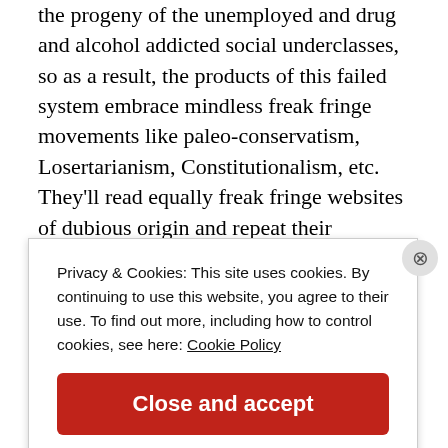the progeny of the unemployed and drug and alcohol addicted social underclasses, so as a result, the products of this failed system embrace mindless freak fringe movements like paleo-conservatism, Losertarianism, Constitutionalism, etc. They'll read equally freak fringe websites of dubious origin and repeat their respective content as if gospel like the pathetic robots they are, even though no proof exists as to the veracity of their
Privacy & Cookies: This site uses cookies. By continuing to use this website, you agree to their use. To find out more, including how to control cookies, see here: Cookie Policy
Close and accept